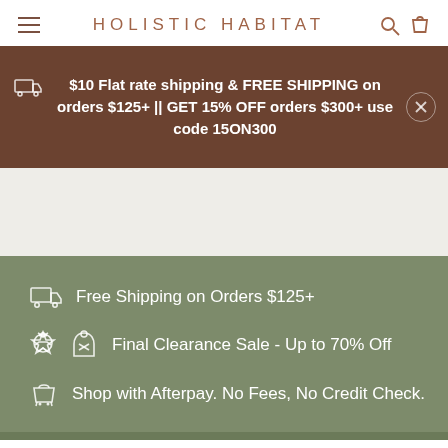HOLISTIC HABITAT
$10 Flat rate shipping & FREE SHIPPING on orders $125+ || GET 15% OFF orders $300+ use code 15ON300
Free Shipping on Orders $125+
Final Clearance Sale - Up to 70% Off
Shop with Afterpay. No Fees, No Credit Check.